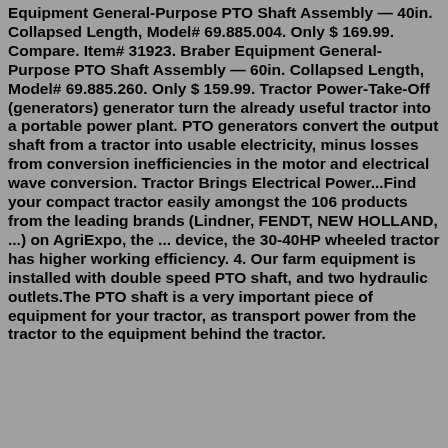Equipment General-Purpose PTO Shaft Assembly — 40in. Collapsed Length, Model# 69.885.004. Only $ 169.99. Compare. Item# 31923. Braber Equipment General-Purpose PTO Shaft Assembly — 60in. Collapsed Length, Model# 69.885.260. Only $ 159.99. Tractor Power-Take-Off (generators) generator turn the already useful tractor into a portable power plant. PTO generators convert the output shaft from a tractor into usable electricity, minus losses from conversion inefficiencies in the motor and electrical wave conversion. Tractor Brings Electrical Power...Find your compact tractor easily amongst the 106 products from the leading brands (Lindner, FENDT, NEW HOLLAND, ...) on AgriExpo, the ... device, the 30-40HP wheeled tractor has higher working efficiency. 4. Our farm equipment is installed with double speed PTO shaft, and two hydraulic outlets.The PTO shaft is a very important piece of equipment for your tractor, as transport power from the tractor to the equipment behind the tractor.